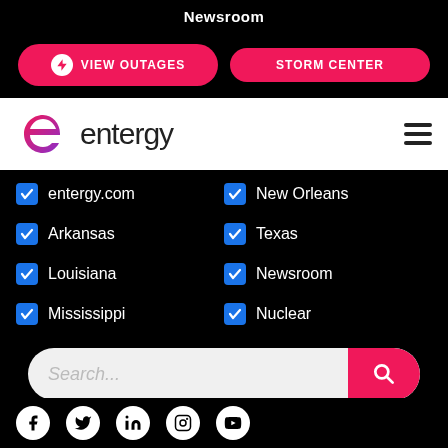Newsroom
VIEW OUTAGES
STORM CENTER
[Figure (logo): Entergy logo with stylized e icon and wordmark]
entergy.com
New Orleans
Arkansas
Texas
Louisiana
Newsroom
Mississippi
Nuclear
Search...